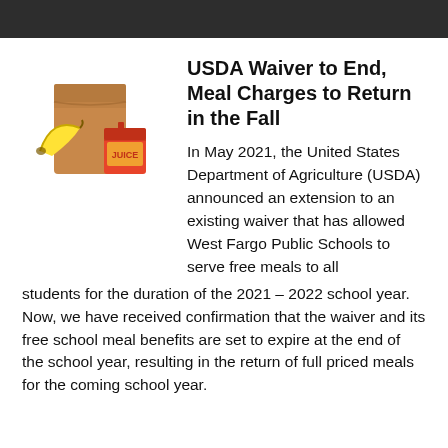[Figure (illustration): Illustration of a brown paper lunch bag with a banana and a juice box in front of it]
USDA Waiver to End, Meal Charges to Return in the Fall
In May 2021, the United States Department of Agriculture (USDA) announced an extension to an existing waiver that has allowed West Fargo Public Schools to serve free meals to all students for the duration of the 2021 – 2022 school year. Now, we have received confirmation that the waiver and its free school meal benefits are set to expire at the end of the school year, resulting in the return of full priced meals for the coming school year.